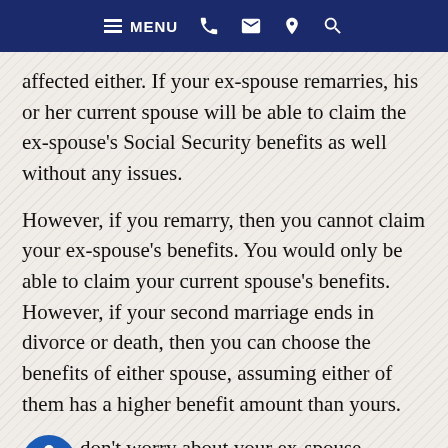MENU
affected either. If your ex-spouse remarries, his or her current spouse will be able to claim the ex-spouse's Social Security benefits as well without any issues.
However, if you remarry, then you cannot claim your ex-spouse's benefits. You would only be able to claim your current spouse's benefits. However, if your second marriage ends in divorce or death, then you can choose the benefits of either spouse, assuming either of them has a higher benefit amount than yours.
don't worry about your ex-spouse influencing your benefits. If you want to claim your ex-spouse's Social Security benefits, make an appointment with your